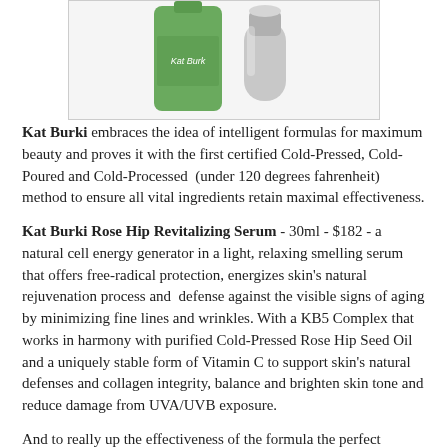[Figure (photo): Product photo showing a green Kat Burki bottle/serum and a silver dropper/applicator against a white background]
Kat Burki embraces the idea of intelligent formulas for maximum beauty and proves it with the first certified Cold-Pressed, Cold-Poured and Cold-Processed (under 120 degrees fahrenheit) method to ensure all vital ingredients retain maximal effectiveness.
Kat Burki Rose Hip Revitalizing Serum - 30ml - $182 - a natural cell energy generator in a light, relaxing smelling serum that offers free-radical protection, energizes skin's natural rejuvenation process and defense against the visible signs of aging by minimizing fine lines and wrinkles. With a KB5 Complex that works in harmony with purified Cold-Pressed Rose Hip Seed Oil and a uniquely stable form of Vitamin C to support skin's natural defenses and collagen integrity, balance and brighten skin tone and reduce damage from UVA/UVB exposure.
And to really up the effectiveness of the formula the perfect